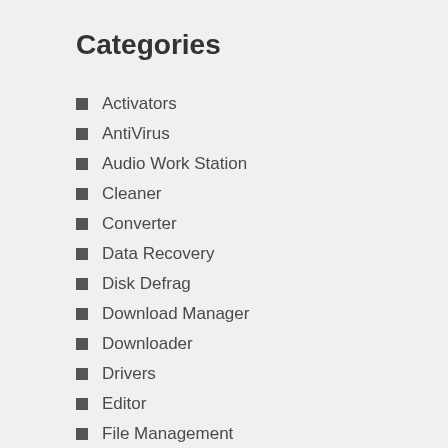Categories
Activators
AntiVirus
Audio Work Station
Cleaner
Converter
Data Recovery
Disk Defrag
Download Manager
Downloader
Drivers
Editor
File Management
Game Tool
Gaming Tool
Graphic Design